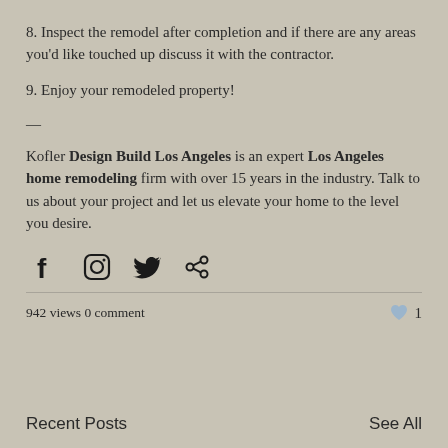8. Inspect the remodel after completion and if there are any areas you'd like touched up discuss it with the contractor.
9. Enjoy your remodeled property!
—
Kofler Design Build Los Angeles is an expert Los Angeles home remodeling firm with over 15 years in the industry. Talk to us about your project and let us elevate your home to the level you desire.
[Figure (infographic): Social media icons: Facebook, Instagram, Twitter, and a link/share icon]
942 views  0 comment  [heart icon] 1
Recent Posts
See All